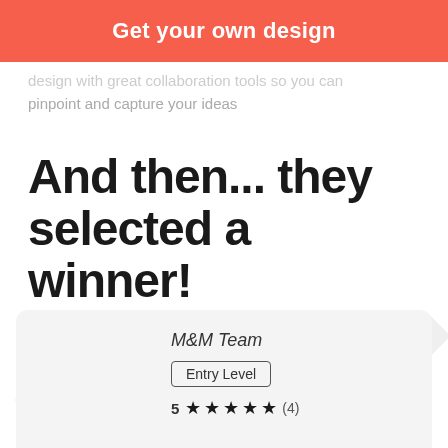[Figure (screenshot): Red/coral call-to-action button with text 'Get your own design' in white bold font]
design with great collaboration tools so you can pinpoint and capture your ideas
And then... they selected a winner!
[Figure (infographic): Winner card showing designer M&M Team, Entry Level badge, and 5 star rating (4 reviews)]